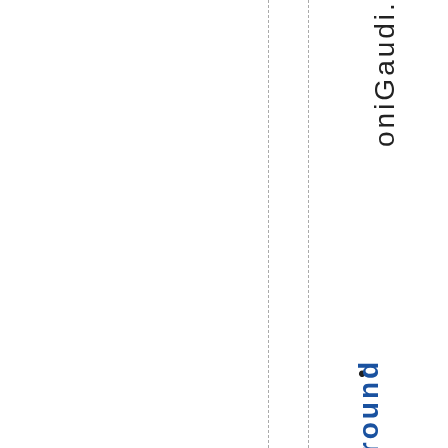oniGaudi.
Camp Nou – Home ground of F